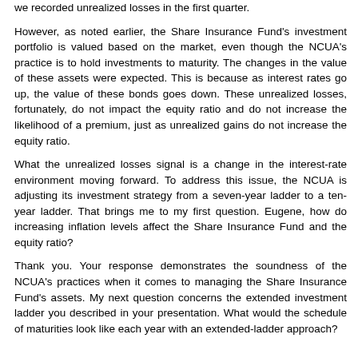we recorded unrealized losses in the first quarter.
However, as noted earlier, the Share Insurance Fund's investment portfolio is valued based on the market, even though the NCUA's practice is to hold investments to maturity. The changes in the value of these assets were expected. This is because as interest rates go up, the value of these bonds goes down. These unrealized losses, fortunately, do not impact the equity ratio and do not increase the likelihood of a premium, just as unrealized gains do not increase the equity ratio.
What the unrealized losses signal is a change in the interest-rate environment moving forward. To address this issue, the NCUA is adjusting its investment strategy from a seven-year ladder to a ten-year ladder. That brings me to my first question. Eugene, how do increasing inflation levels affect the Share Insurance Fund and the equity ratio?
Thank you. Your response demonstrates the soundness of the NCUA's practices when it comes to managing the Share Insurance Fund's assets. My next question concerns the extended investment ladder you described in your presentation. What would the schedule of maturities look like each year with an extended-ladder approach?